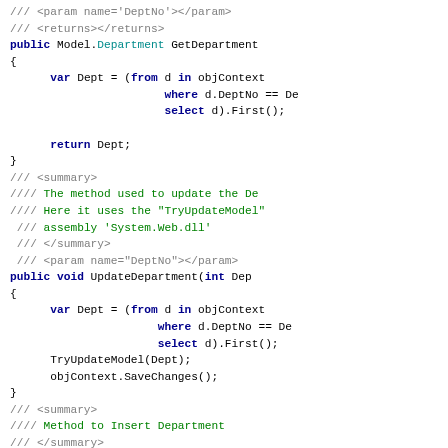[Figure (screenshot): Source code screenshot showing C# methods GetDepartment and UpdateDepartment with XML doc comments, LINQ queries, and method signatures. Also shows beginning of InsertDepartment method.]